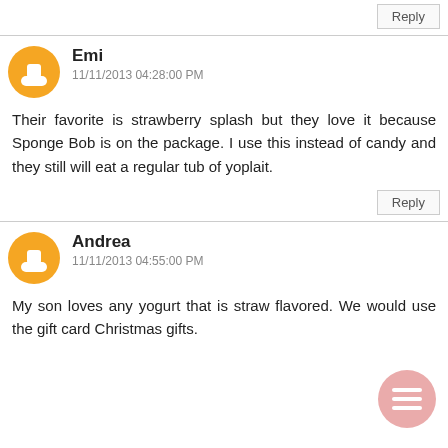Reply
Emi
11/11/2013 04:28:00 PM

Their favorite is strawberry splash but they love it because Sponge Bob is on the package. I use this instead of candy and they still will eat a regular tub of yoplait.
Reply
Andrea
11/11/2013 04:55:00 PM

My son loves any yogurt that is straw flavored. We would use the gift card Christmas gifts.